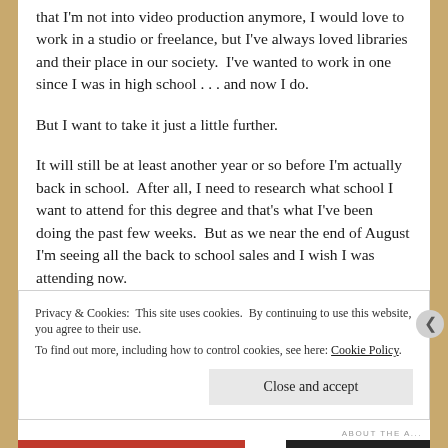that I'm not into video production anymore, I would love to work in a studio or freelance, but I've always loved libraries and their place in our society.  I've wanted to work in one since I was in high school . . . and now I do.
But I want to take it just a little further.
It will still be at least another year or so before I'm actually back in school.  After all, I need to research what school I want to attend for this degree and that's what I've been doing the past few weeks.  But as we near the end of August I'm seeing all the back to school sales and I wish I was attending now.
Privacy & Cookies:  This site uses cookies.  By continuing to use this website, you agree to their use.
To find out more, including how to control cookies, see here: Cookie Policy